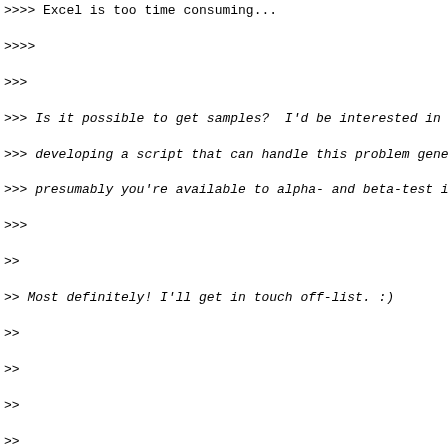>>> Excel is too time consuming...
>>>>
>>>
>>> Is it possible to get samples?  I'd be interested in
>>> developing a script that can handle this problem gene
>>> presumably you're available to alpha- and beta-test i
>>>
>>
>> Most definitely! I'll get in touch off-list. :)
>>
>>
>>
>>
>> --
>>                                 **
>> -- Bandwidth and Colocation Provided by http://www.ap:
>> New to Asterisk? Join us for a live introductory webi
>>              http://www.asterisk.org/hello
>>
>> asterisk-users mailing list
>> To UNSUBSCRIBE or update options visit:
>>  http://lists.digium.com/**mailman/listinfo/asterisk-
>>
>
>
>
> --
>
> -- Bandwidth and Colocation Provided by http://www.api
> New to Asterisk? Join us for a live introductory webina
>             http://www.asterisk.org/hello
>